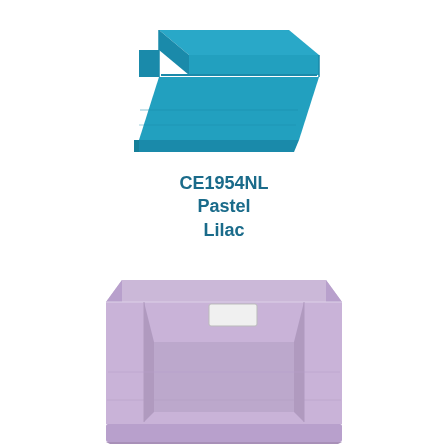[Figure (photo): Teal/turquoise plastic storage tray/bin viewed from above at an angle, showing lid or top surface, with ribbed sides and snap-fit base.]
CE1954NL
Pastel
Lilac
[Figure (photo): Pastel lilac plastic storage tray/bin viewed from front-above angle, open top showing interior, with label slot on front, ribbed sides and base plinth.]